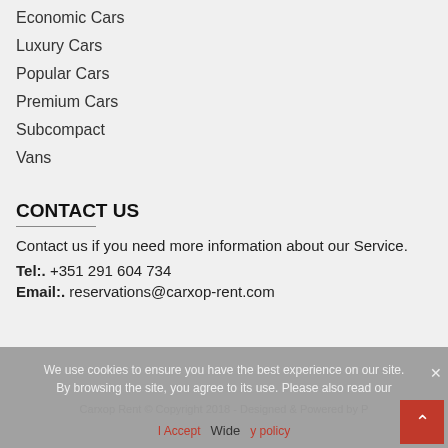Economic Cars
Luxury Cars
Popular Cars
Premium Cars
Subcompact
Vans
CONTACT US
Contact us if you need more information about our Service.
Tel:. +351 291 604 734
Email:. reservations@carxop-rent.com
We use cookies to ensure you have the best experience on our site. By browsing the site, you agree to its use. Please also read our
Carxop Rent © Copyright 2018 - Designed & Powered by P... Wide